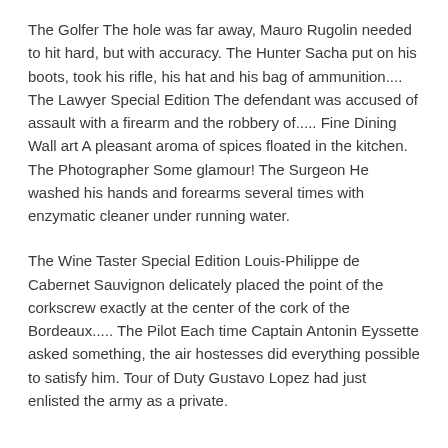The Golfer The hole was far away, Mauro Rugolin needed to hit hard, but with accuracy. The Hunter Sacha put on his boots, took his rifle, his hat and his bag of ammunition.... The Lawyer Special Edition The defendant was accused of assault with a firearm and the robbery of..... Fine Dining Wall art A pleasant aroma of spices floated in the kitchen. The Photographer Some glamour! The Surgeon He washed his hands and forearms several times with enzymatic cleaner under running water.
The Wine Taster Special Edition Louis-Philippe de Cabernet Sauvignon delicately placed the point of the corkscrew exactly at the center of the cork of the Bordeaux..... The Pilot Each time Captain Antonin Eyssette asked something, the air hostesses did everything possible to satisfy him. Tour of Duty Gustavo Lopez had just enlisted the army as a private.